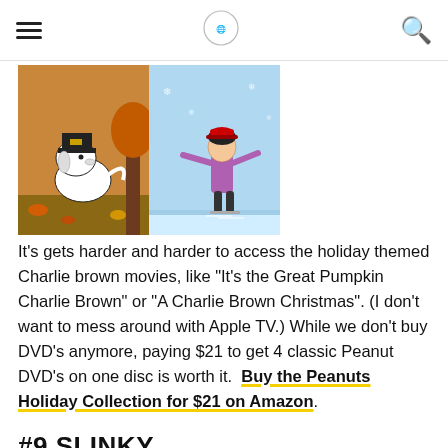[Figure (illustration): Peanuts characters: Snoopy in a pilgrim hat on the left panel and Lucy ice skating on the right panel]
It's gets harder and harder to access the holiday themed Charlie brown movies, like "It's the Great Pumpkin Charlie Brown" or "A Charlie Brown Christmas". (I don't want to mess around with Apple TV.) While we don't buy DVD's anymore, paying $21 to get 4 classic Peanut DVD's on one disc is worth it. Buy the Peanuts Holiday Collection for $21 on Amazon.
#9 SLINKY
[Figure (photo): Slinky 75th anniversary box product photo in red packaging]